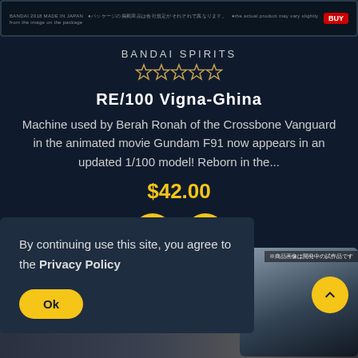[Figure (screenshot): Top product image strip showing Bandai packaging label and a red BUY button on dark background]
BANDAI SPIRITS
[Figure (other): Five empty star rating icons in gold outline]
RE/100 Vigna-Ghina
Machine used by Berah Ronah of the Crossbone Vanguard in the animated movie Gundam F91 now appears in an updated 1/100 model! Reborn in the...
$42.00
[Figure (other): Two yellow circular action buttons: heart/wishlist and eye/preview icons]
By continuing use this site, you agree to the Privacy Policy
Ok
[Figure (photo): Partial product card on right showing mecha robot preview image with Japanese text label]
[Figure (other): Yellow circular scroll-to-top button with upward chevron arrow]
[Figure (photo): Bottom strip preview of mecha/robot model product]